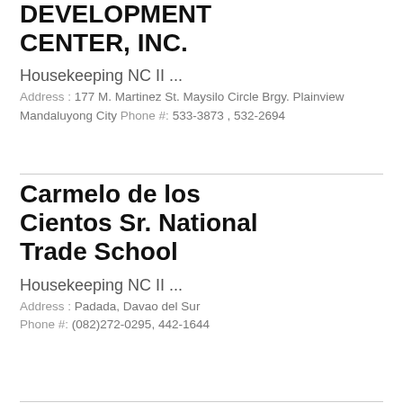DEVELOPMENT CENTER, INC.
Housekeeping NC II ...
Address : 177 M. Martinez St. Maysilo Circle Brgy. Plainview Mandaluyong City Phone #: 533-3873 , 532-2694
Carmelo de los Cientos Sr. National Trade School
Housekeeping NC II ...
Address : Padada, Davao del Sur Phone #: (082)272-0295, 442-1644